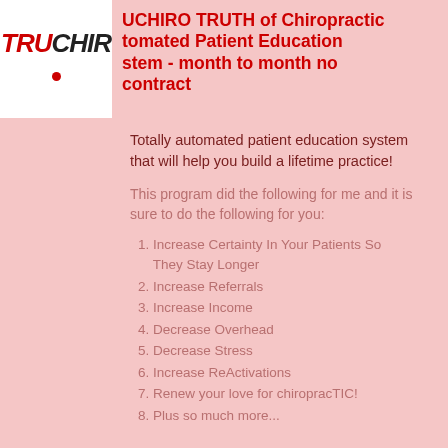[Figure (logo): TruChiro logo with italic bold text TRU in red and CHIRO in black with a red dot]
UCHIRO TRUTH of Chiropractic tomated Patient Education stem - month to month no contract
Totally automated patient education system that will help you build a lifetime practice!
This program did the following for me and it is sure to do the following for you:
1. Increase Certainty In Your Patients So They Stay Longer
2. Increase Referrals
3. Increase Income
4. Decrease Overhead
5. Decrease Stress
6. Increase ReActivations
7. Renew your love for chiropracTIC!
8. Plus so much more...